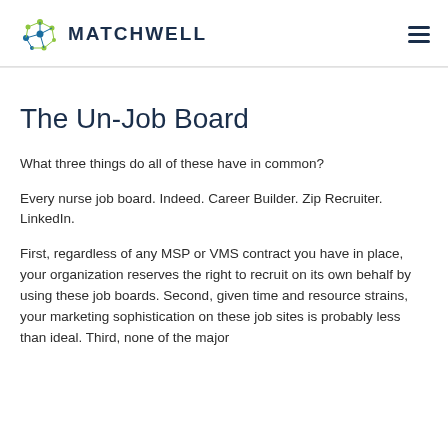MATCHWELL
The Un-Job Board
What three things do all of these have in common?
Every nurse job board. Indeed. Career Builder. Zip Recruiter. LinkedIn.
First, regardless of any MSP or VMS contract you have in place, your organization reserves the right to recruit on its own behalf by using these job boards. Second, given time and resource strains, your marketing sophistication on these job sites is probably less than ideal. Third, none of the major